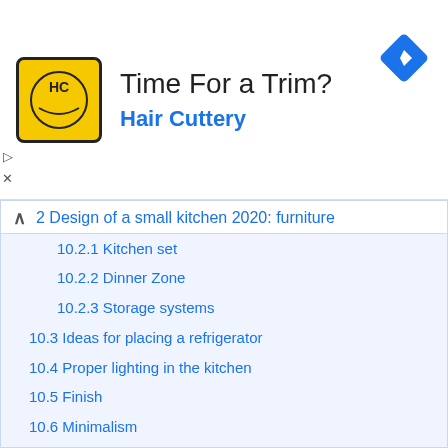[Figure (infographic): Hair Cuttery advertisement banner with yellow logo showing 'HC', title 'Time For a Trim?', subtitle 'Hair Cuttery', and a blue navigation diamond icon top right.]
2 Design of a small kitchen 2020: furniture
10.2.1 Kitchen set
10.2.2 Dinner Zone
10.2.3 Storage systems
10.3 Ideas for placing a refrigerator
10.4 Proper lighting in the kitchen
10.5 Finish
10.6 Minimalism
10.7 Country
10.8 Small Kitchen Design 2020: Loft
10.8.1 Small Provence style kitchen
10.8.2 Small kitchen in a modern style
10.8.3 Small high-tech kitchen
10.8.4 Small Scandinavian style kitchen
10.9 Color schemes for a small kitchen